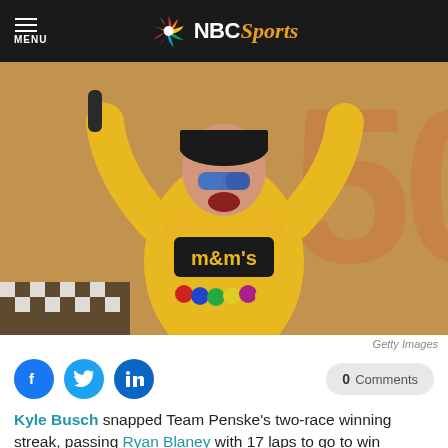NBC Sports
[Figure (photo): NASCAR driver Kyle Busch in yellow M&M's racing suit, arms raised holding a bottle, celebrating a race win in victory lane]
Getty Images
Kyle Busch snapped Team Penske's two-race winning streak, passing Ryan Blaney with 17 laps to go to win